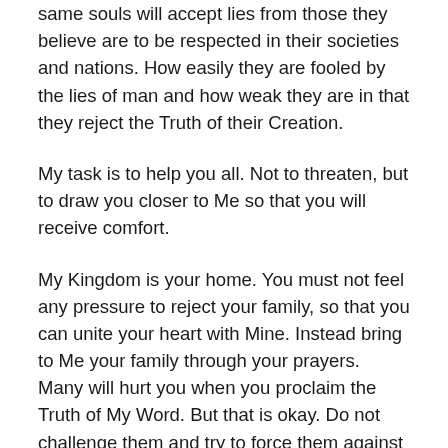same souls will accept lies from those they believe are to be respected in their societies and nations. How easily they are fooled by the lies of man and how weak they are in that they reject the Truth of their Creation.
My task is to help you all. Not to threaten, but to draw you closer to Me so that you will receive comfort.
My Kingdom is your home. You must not feel any pressure to reject your family, so that you can unite your heart with Mine. Instead bring to Me your family through your prayers. Many will hurt you when you proclaim the Truth of My Word. But that is okay. Do not challenge them and try to force them against their will. I will take them into My Light of Protection when you recite Crusade Prayer (13) Prayer calling for Immunity.
I am full of love for you. Those who believe in Me will be